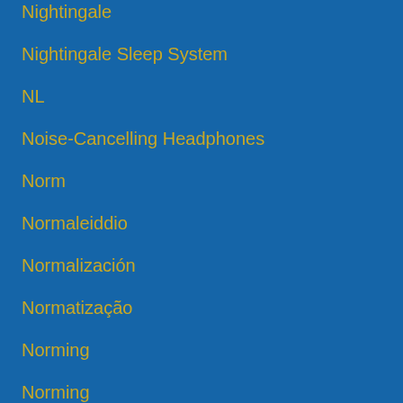Nightingale
Nightingale Sleep System
NL
Noise-Cancelling Headphones
Norm
Normaleiddio
Normalización
Normatização
Norming
Norming